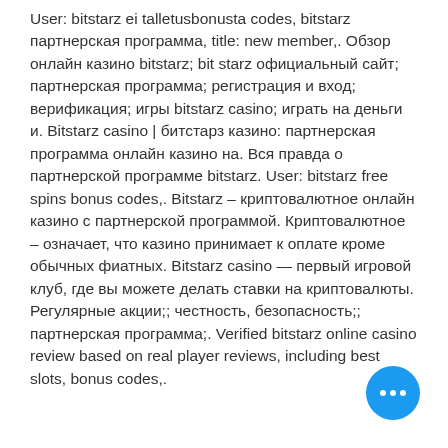User: bitstarz ei talletusbonusta codes, bitstarz партнерская программа, title: new member,. Обзор онлайн казино bitstarz; bit starz официальный сайт; партнерская программа; регистрация и вход; верификация; игры bitstarz casino; играть на деньги и. Bitstarz casino | битстарз казино: партнерская программа онлайн казино на. Вся правда о партнерской программе bitstarz. User: bitstarz free spins bonus codes,. Bitstarz – криптовалютное онлайн казино с партнерской программой. Криптовалютное – означает, что казино принимает к оплате кроме обычных фиатных. Bitstarz casino — первый игровой клуб, где вы можете делать ставки на криптовалюты. Регулярные акции;; честность, безопасность;; партнерская программа;. Verified bits online casino review based on real pla reviews, including best slots, bonus codes,.
[Figure (other): Blue circular chat button with three white dots (ellipsis) in the bottom-right corner]